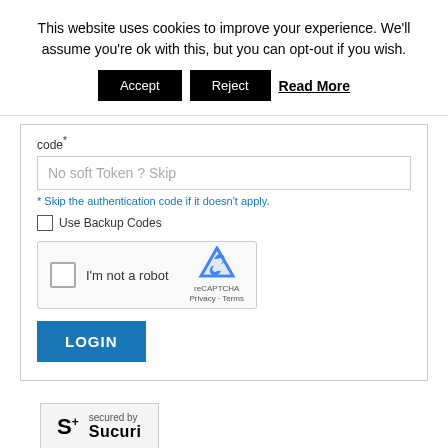This website uses cookies to improve your experience. We'll assume you're ok with this, but you can opt-out if you wish.
Accept | Reject | Read More
code*
No soft Token ? Skip
* Skip the authentication code if it doesn't apply.
Use Backup Codes
[Figure (other): reCAPTCHA widget with checkbox 'I'm not a robot' and reCAPTCHA logo with Privacy and Terms links]
LOGIN
[Figure (logo): Sucuri security badge with S+ logo and 'secured by Sucuri' text]